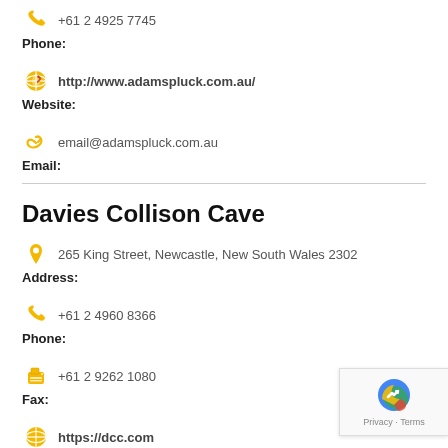+61 2 4925 7745
Phone:
http://www.adamspluck.com.au/
Website:
email@adamspluck.com.au
Email:
Davies Collison Cave
265 King Street, Newcastle, New South Wales 2302
Address:
+61 2 4960 8366
Phone:
+61 2 9262 1080
Fax:
https://dcc.com